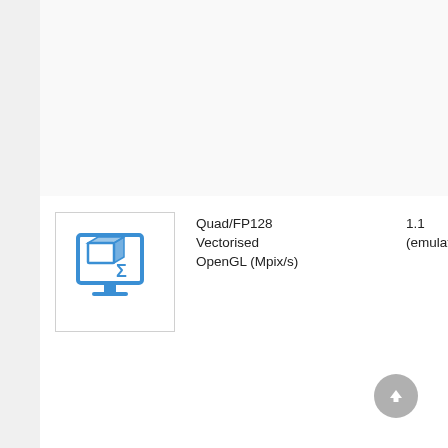[Figure (illustration): Blue icon of a computer monitor with a 3D box/package and a sigma/arrow symbol, suggesting a graphics or OpenGL benchmark tool]
Quad/FP128
Vectorised
OpenGL (Mpix/s)
1.1
(emulated)